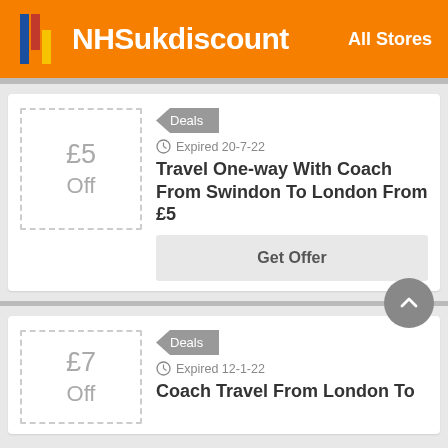NHSukdiscount — All Stores
£5 Off
Deals
Expired 20-7-22
Travel One-way With Coach From Swindon To London From £5
Get Offer
£7 Off
Deals
Expired 12-1-22
Coach Travel From London To